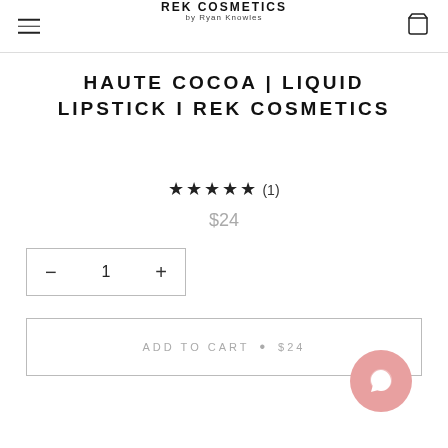REK COSMETICS by Ryan Knowles
HAUTE COCOA | LIQUID LIPSTICK I REK COSMETICS
★★★★★ (1)
$24
− 1 +
ADD TO CART • $24